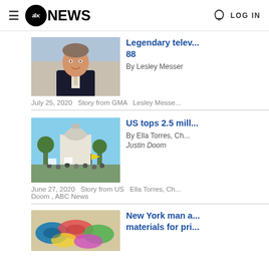abc NEWS  LOG IN
[Figure (photo): Man in suit smiling, seated, studio background]
Legendary telev... 88
By Lesley Messer
July 25, 2020  Story from GMA  Lesley Messe...
[Figure (photo): Protest crowd outside state capitol building, yellow flag visible]
US tops 2.5 mill...
By Ella Torres, Ch... Justin Doom
June 27, 2020  Story from US  Ella Torres, Ch... Doom , ABC News
[Figure (photo): Colorful fabric/masks on a surface]
New York man a... materials for pri...